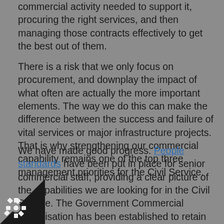commercial activity needed to support it, procuring the right services, and then managing those contracts effectively to get the best out of them.
There is a risk that we only focus on procurement, and downplay the impact of what often are actually the more important elements. The way we do this can make the difference between the success and failure of vital services or major infrastructure projects. That is why strengthening our commercial capability remains one of the top three management priorities for the Civil Service.
We have made good progress. People standards have been put in place for senior commercial staff, providing a clear picture of the capabilities we are looking for in the Civil Service. The Government Commercial Organisation has been established to retain and recruit some of the country's most impressive senior commercial talent. Consistent commercial operating standards are being applied across government, and departments have measured themselves against these standards and are now sharing good practice